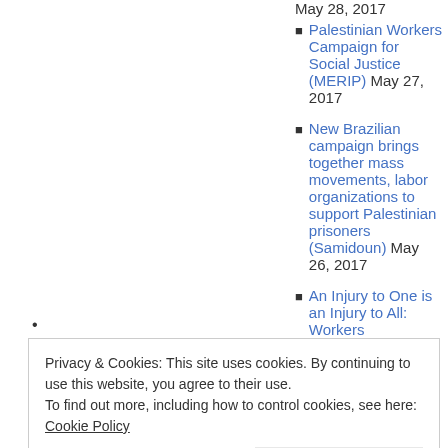Palestinian Workers Campaign for Social Justice (MERIP) May 27, 2017
New Brazilian campaign brings together mass movements, labor organizations to support Palestinian prisoners (Samidoun) May 26, 2017
An Injury to One is an Injury to All: Workers
Privacy & Cookies: This site uses cookies. By continuing to use this website, you agree to their use. To find out more, including how to control cookies, see here: Cookie Policy
Close and accept
Norway trade